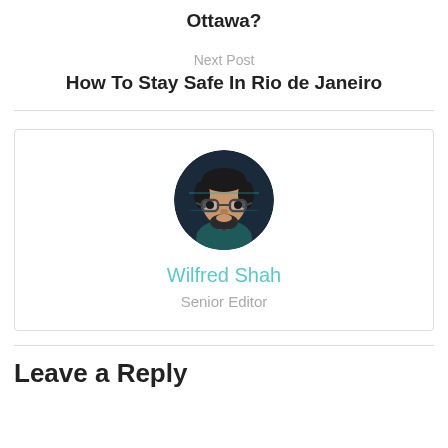Ottawa?
Next Post
How To Stay Safe In Rio de Janeiro
[Figure (illustration): Cartoon avatar of Wilfred Shah — a person with dark hair, glasses, and a beard, shown as a circular profile image with dark background.]
Wilfred Shah
Senior Editor
Leave a Reply